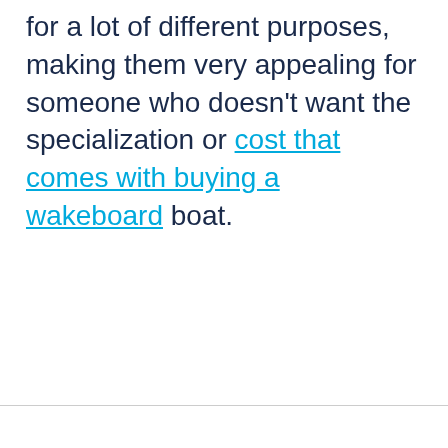for a lot of different purposes, making them very appealing for someone who doesn't want the specialization or cost that comes with buying a wakeboard boat.